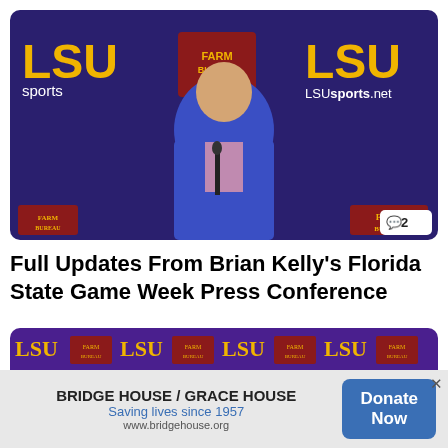[Figure (photo): Man in blue blazer at LSU press conference podium with microphone, LSU and Farm Bureau logos in background]
Full Updates From Brian Kelly's Florida State Game Week Press Conference
[Figure (photo): LSU press conference backdrop with repeating LSU and Farm Bureau logos, person partially visible at bottom]
BRIDGE HOUSE / GRACE HOUSE Saving lives since 1957 www.bridgehouse.org